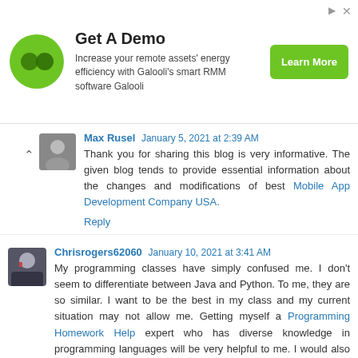[Figure (infographic): Advertisement banner for Galooli: green logo with two circles, title 'Get A Demo', description text about remote assets energy efficiency, and a green 'Learn More' button]
Max Rusel January 5, 2021 at 2:39 AM
Thank you for sharing this blog is very informative. The given blog tends to provide essential information about the changes and modifications of best Mobile App Development Company USA.
Reply
Chrisrogers62060 January 10, 2021 at 3:41 AM
My programming classes have simply confused me. I don't seem to differentiate between Java and Python. To me, they are so similar. I want to be the best in my class and my current situation may not allow me. Getting myself a Programming Homework Help expert who has diverse knowledge in programming languages will be very helpful to me. I would also prefer to get a Java Homework Help expert who will give me a better understanding of Java so...